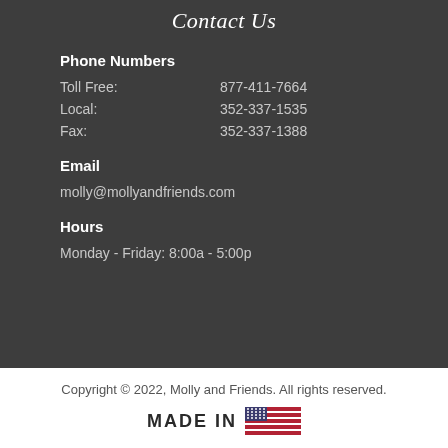Contact Us
Phone Numbers
Toll Free:  877-411-7664
Local:  352-337-1535
Fax:  352-337-1388
Email
molly@mollyandfriends.com
Hours
Monday - Friday:  8:00a - 5:00p
Copyright © 2022, Molly and Friends. All rights reserved.
[Figure (logo): MADE IN USA with American flag graphic]